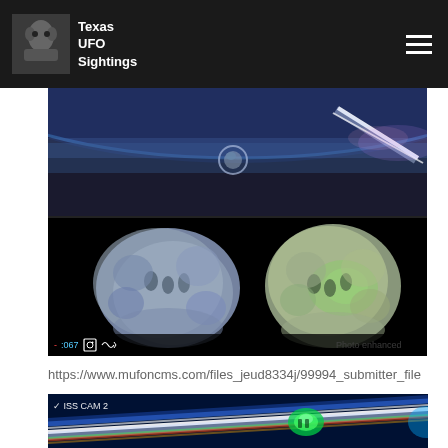Texas UFO Sightings
[Figure (screenshot): Video screenshot from ISS camera showing UFO-like objects: top half shows Earth from orbit with a glowing object and a bright light streak; bottom half shows two enhanced blob-shaped glowing objects side by side on black background with 'Photo enhanced' label and video controls showing -:067]
https://www.mufoncms.com/files_jeud8334j/99994_submitter_file
[Figure (screenshot): Second video screenshot labeled 'ISS CAM 2' showing colorful streaks of light in blue tones with a bright glowing green object visible]